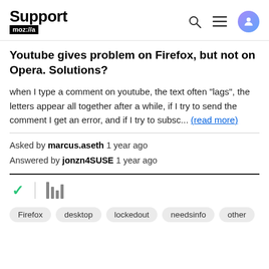Support mozilla//a
Youtube gives problem on Firefox, but not on Opera. Solutions?
when I type a comment on youtube, the text often "lags", the letters appear all together after a while, if I try to send the comment I get an error, and if I try to subsc... (read more)
Asked by marcus.aseth 1 year ago
Answered by jonzn4SUSE 1 year ago
Firefox desktop lockedout needsinfo other